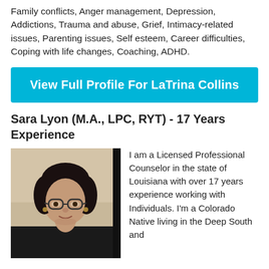Family conflicts, Anger management, Depression, Addictions, Trauma and abuse, Grief, Intimacy-related issues, Parenting issues, Self esteem, Career difficulties, Coping with life changes, Coaching, ADHD.
[Figure (other): Cyan/blue call-to-action button reading 'View Full Profile For LaTrina Collins']
Sara Lyon (M.A., LPC, RYT) - 17 Years Experience
[Figure (photo): Headshot photo of Sara Lyon, a woman with glasses and dark hair pulled back, wearing earrings, against a light background.]
I am a Licensed Professional Counselor in the state of Louisiana with over 17 years experience working with Individuals. I'm a Colorado Native living in the Deep South and